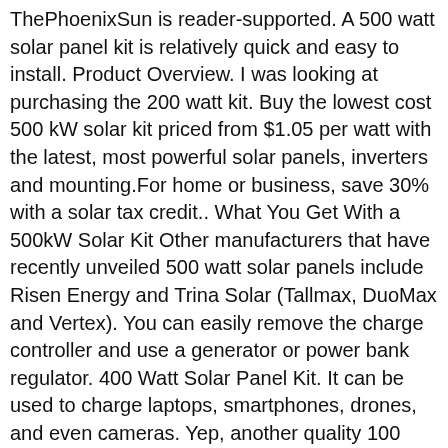ThePhoenixSun is reader-supported. A 500 watt solar panel kit is relatively quick and easy to install. Product Overview. I was looking at purchasing the 200 watt kit. Buy the lowest cost 500 kW solar kit priced from $1.05 per watt with the latest, most powerful solar panels, inverters and mounting.For home or business, save 30% with a solar tax credit.. What You Get With a 500kW Solar Kit Other manufacturers that have recently unveiled 500 watt solar panels include Risen Energy and Trina Solar (Tallmax, DuoMax and Vertex). You can easily remove the charge controller and use a generator or power bank regulator. 400 Watt Solar Panel Kit. It can be used to charge laptops, smartphones, drones, and even cameras. Yep, another quality 100 watt off grid solar panel kit from Renogy. Order online of call today. Clothes Dryer. In this powerful solar panel have high grade solar cells which give maximum output also, it generate better power even in low light conditions. $673.99$673.99. It can transfer power up to 30 % more efficiently compared to other PWM charge controllers. Trina Solarâs 500-watt panels. I found that this is best used for RVs, trailers, sheds, cabins, and boats, since it comes with pre-drilled holes that make it easy to attach it to the roof of your RV, shed, or wherever else you might want to place this panel. The 500 Watt Solar Panel